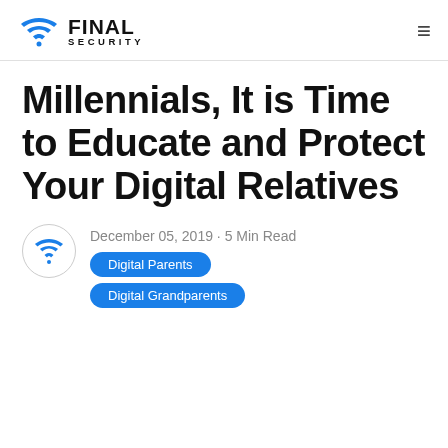FINAL SECURITY
Millennials, It is Time to Educate and Protect Your Digital Relatives
December 05, 2019 · 5 Min Read
Digital Parents
Digital Grandparents